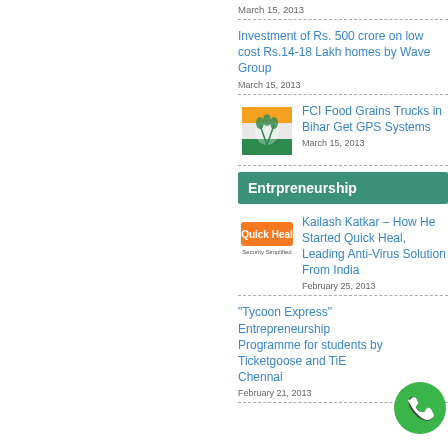March 15, 2013
Investment of Rs. 500 crore on low cost Rs.14-18 Lakh homes by Wave Group
March 15, 2013
[Figure (logo): FCI (Food Corporation of India) logo with wheat sheaves and Indian flag colors]
FCI Food Grains Trucks in Bihar Get GPS Systems
March 15, 2013
Entrpreneurship
[Figure (logo): Quick Heal Security Simplified logo - orange background with white text]
Kailash Katkar – How He Started Quick Heal, Leading Anti-Virus Solution From India
February 25, 2013
“Tycoon Express” Entrepreneurship Programme for students by Ticketgoose and TiE Chennai
February 21, 2013